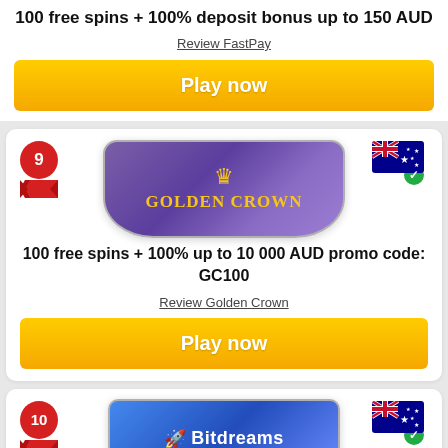100 free spins + 100% deposit bonus up to 150 AUD
Review FastPay
Play now
[Figure (logo): Ranking badge number 9 with red ribbon, Golden Crown casino logo (purple pill shape with gold crown and text), Australian flag with green checkmark]
100 free spins + 100% up to 10 000 AUD promo code: GC100
Review Golden Crown
Play now
[Figure (logo): Ranking badge number 10 with red ribbon, Bitdreams casino logo (blue pill shape with rocket icon and text), Australian flag with green checkmark]